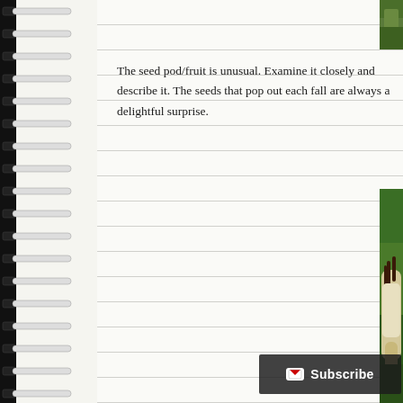[Figure (photo): Partial view of green leaves/foliage visible at top right of page (cropped)]
The seed pod/fruit is unusual. Examine it closely and describe it. The seeds that pop out each fall are always a delightful surprise.
[Figure (photo): Close-up photograph of a magnolia seed pod with dark brown curved stamens/carpels protruding from a fuzzy white/cream aggregate fruit, surrounded by dark green magnolia leaves in the background.]